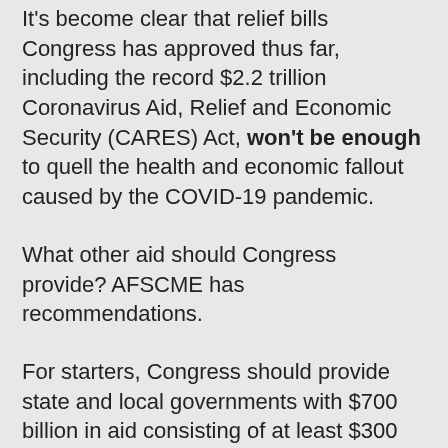It's become clear that relief bills Congress has approved thus far, including the record $2.2 trillion Coronavirus Aid, Relief and Economic Security (CARES) Act, won't be enough to quell the health and economic fallout caused by the COVID-19 pandemic.
What other aid should Congress provide? AFSCME has recommendations.
For starters, Congress should provide state and local governments with $700 billion in aid consisting of at least $300 billion in unrestricted aid and $200 billion each in education and health care funding.
“It is becoming apparent that far more assistance may be necessary if the reduction in economic activity extends into the summer,” according to identical letters AFSCME sent to the House of